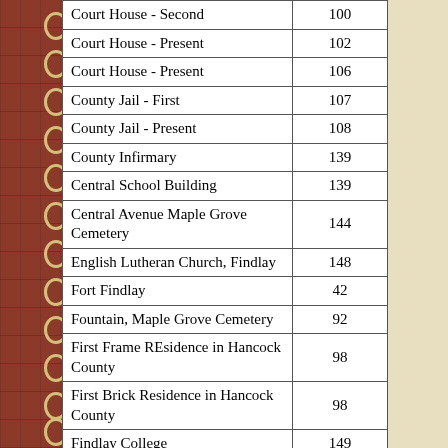|  |  |
| --- | --- |
| Court House - Second | 100 |
| Court House - Present | 102 |
| Court House - Present | 106 |
| County Jail - First | 107 |
| County Jail - Present | 108 |
| County Infirmary | 139 |
| Central School Building | 139 |
| Central Avenue Maple Grove Cemetery | 144 |
| English Lutheran Church, Findlay | 148 |
| Fort Findlay | 42 |
| Fountain, Maple Grove Cemetery | 92 |
| First Frame REsidence in Hancock County | 98 |
| First Brick Residence in Hancock County | 98 |
| Findlay College | 149 |